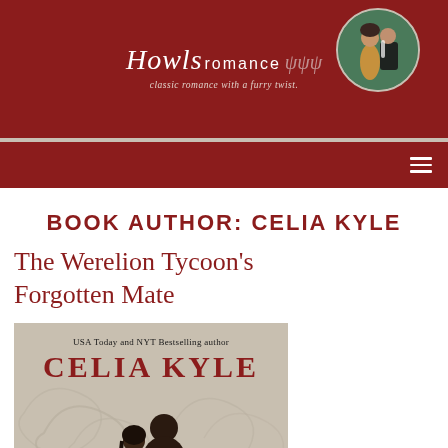[Figure (logo): Howls Romance logo with script 'Howls' and 'romance' text, tagline 'classic romance with a furry twist.', decorative swash marks, and circular couple photo on right, all on dark red banner]
Howls romance — classic romance with a furry twist.
BOOK AUTHOR: CELIA KYLE
The Werelion Tycoon's Forgotten Mate
[Figure (photo): Book cover showing 'USA Today and NYT Bestselling author CELIA KYLE' text at top on beige background with decorative swirl pattern, couple embracing at bottom]